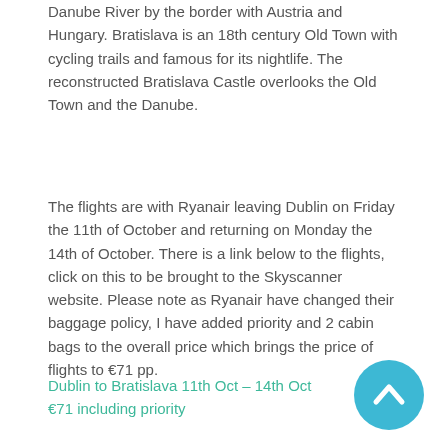Danube River by the border with Austria and Hungary. Bratislava is an 18th century Old Town with cycling trails and famous for its nightlife. The reconstructed Bratislava Castle overlooks the Old Town and the Danube.
The flights are with Ryanair leaving Dublin on Friday the 11th of October and returning on Monday the 14th of October. There is a link below to the flights, click on this to be brought to the Skyscanner website. Please note as Ryanair have changed their baggage policy, I have added priority and 2 cabin bags to the overall price which brings the price of flights to €71 pp.
Dublin to Bratislava 11th Oct – 14th Oct €71 including priority